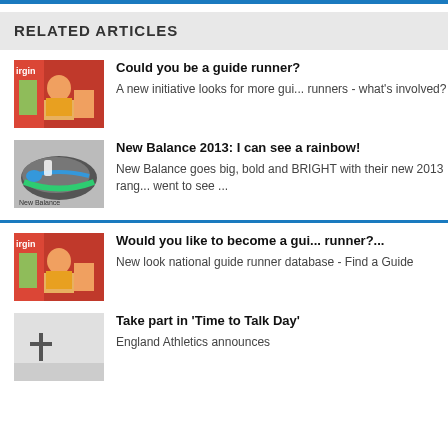RELATED ARTICLES
[Figure (photo): Runners at what appears to be Virgin Marathon event, guide runners with high-vis vests]
Could you be a guide runner?
A new initiative looks for more guide runners - what's involved?
[Figure (photo): New Balance running shoe, gray and green colorway]
New Balance 2013: I can see a rainbow!
New Balance goes big, bold and BRIGHT with their new 2013 range, we went to see ...
[Figure (photo): Runners at Virgin Marathon event, guide runners with high-vis vests]
Would you like to become a guide runner?...
New look national guide runner database - Find a Guide
[Figure (photo): Partially visible image with person and plus symbol]
Take part in 'Time to Talk Day'
England Athletics announces